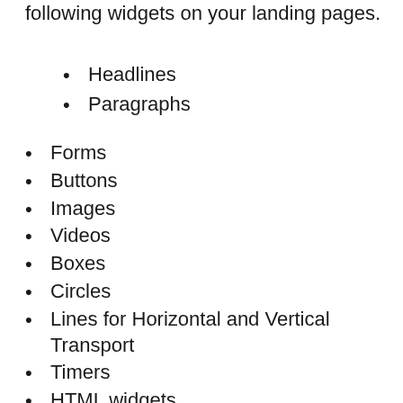following widgets on your landing pages.
Headlines
Paragraphs
Forms
Buttons
Images
Videos
Boxes
Circles
Lines for Horizontal and Vertical Transport
Timers
HTML widgets